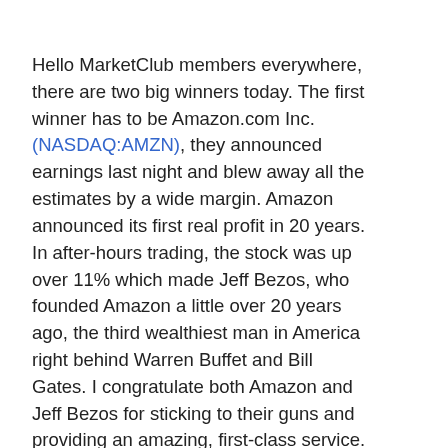Hello MarketClub members everywhere, there are two big winners today. The first winner has to be Amazon.com Inc. (NASDAQ:AMZN), they announced earnings last night and blew away all the estimates by a wide margin. Amazon announced its first real profit in 20 years. In after-hours trading, the stock was up over 11% which made Jeff Bezos, who founded Amazon a little over 20 years ago, the third wealthiest man in America right behind Warren Buffet and Bill Gates. I congratulate both Amazon and Jeff Bezos for sticking to their guns and providing an amazing, first-class service.
[Figure (infographic): Social media sharing sidebar buttons: Twitter (blue bird icon), Facebook (blue f icon), RSS (orange feed icon), Google+ (colorful plus icon), Email (grey envelope icon)]